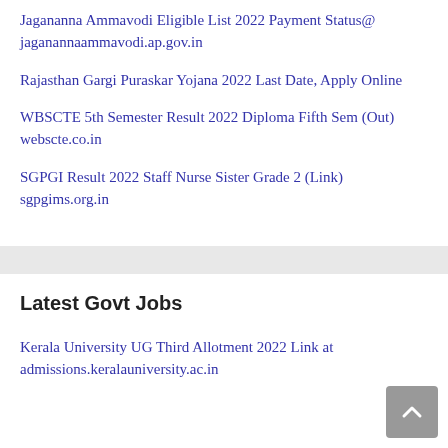Jagananna Ammavodi Eligible List 2022 Payment Status@ jaganannaammavodi.ap.gov.in
Rajasthan Gargi Puraskar Yojana 2022 Last Date, Apply Online
WBSCTE 5th Semester Result 2022 Diploma Fifth Sem (Out) webscte.co.in
SGPGI Result 2022 Staff Nurse Sister Grade 2 (Link) sgpgims.org.in
Latest Govt Jobs
Kerala University UG Third Allotment 2022 Link at admissions.keralauniversity.ac.in